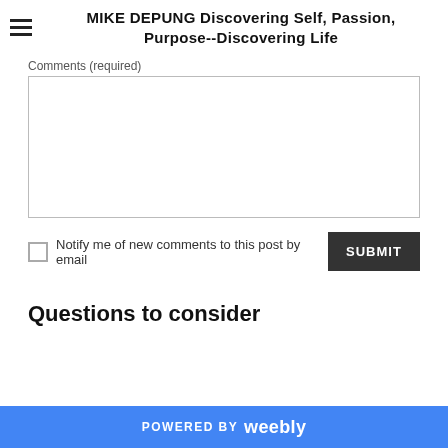MIKE DEPUNG Discovering Self, Passion, Purpose--Discovering Life
Comments (required)
[Figure (screenshot): Text area input box for comments]
Notify me of new comments to this post by email
SUBMIT
Questions to consider
POWERED BY weebly